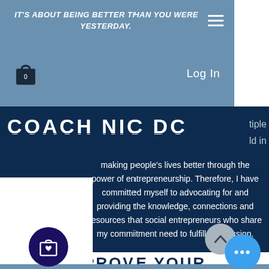IT'S ABOUT BEING BETTER THAN YOU WERE YESTERDAY.
Log In
COACH NIC DC
tiple ld in
making people's lives better through the power of entrepreneurship. Therefore, I have committed myself to advocating for and providing the knowledge, connections and resources that social entrepreneurs who share my commitment need to fulfill our mission.
IMPROVE YOUR